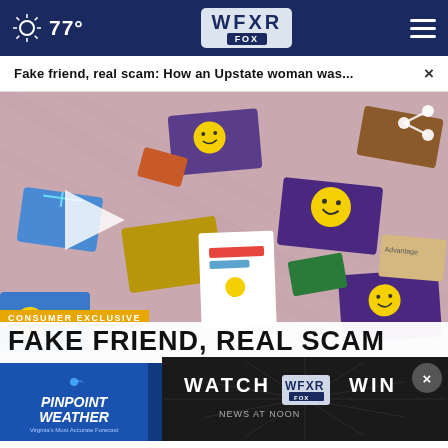77° WFXR FOX
Fake friend, real scam: How an Upstate woman was... ×
[Figure (photo): Photo of multiple gift cards spread on a table with yellow smiley face stickers, including various branded retail gift cards]
CONSUMER EXCLUSIVE
FAKE FRIEND, REAL SCAM
[Figure (screenshot): WATCH WFXR WIN promotional video overlay with close button]
[Figure (infographic): PINPOINT WEATHER - Keeping You Safe and Informed - BARON advertisement banner]